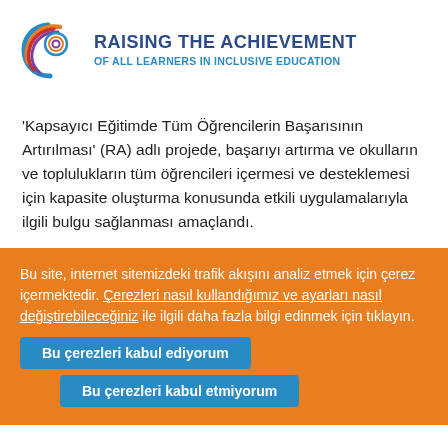[Figure (logo): Raising the Achievement of All Learners in Inclusive Education logo — circular swirl icon in blue, purple, red, and orange next to the organization title text]
'Kapsayıcı Eğitimde Tüm Öğrencilerin Başarısının Artırılması' (RA) adlı projede, başarıyı artırma ve okulların ve toplulukların tüm öğrencileri içermesi ve desteklemesi için kapasite oluşturma konusunda etkili uygulamalarıyla ilgili bulgu sağlanması amaçlandı.
Bu site, internet sitemizdeki trafik akışını analiz etmek için çerez içermektedir. Çerezleri nasıl kullandığımız ve ayarları nasıl değiştirebileceğiniz ile ilgili daha fazla bilgi edinmek için tıklayın.
Bu çerezleri kabul ediyorum
Bu çerezleri kabul etmiyorum